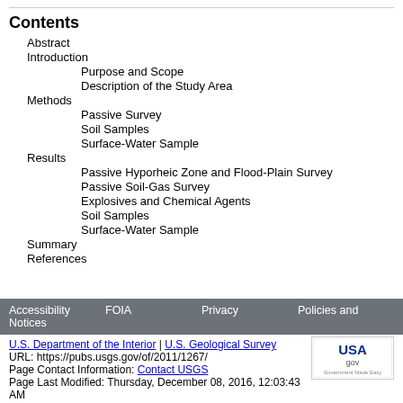Contents
Abstract
Introduction
Purpose and Scope
Description of the Study Area
Methods
Passive Survey
Soil Samples
Surface-Water Sample
Results
Passive Hyporheic Zone and Flood-Plain Survey
Passive Soil-Gas Survey
Explosives and Chemical Agents
Soil Samples
Surface-Water Sample
Summary
References
Accessibility Notices  FOIA  Privacy  Policies and
U.S. Department of the Interior | U.S. Geological Survey
URL: https://pubs.usgs.gov/of/2011/1267/
Page Contact Information: Contact USGS
Page Last Modified: Thursday, December 08, 2016, 12:03:43 AM